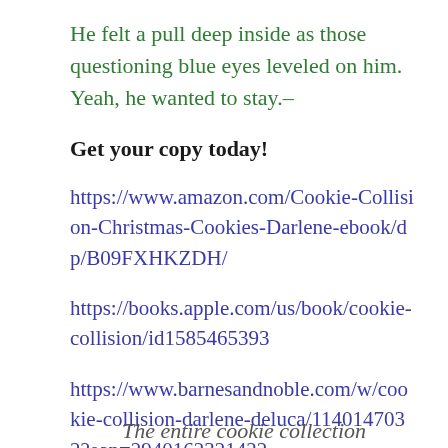He felt a pull deep inside as those questioning blue eyes leveled on him. Yeah, he wanted to stay.–
Get your copy today!
https://www.amazon.com/Cookie-Collision-Christmas-Cookies-Darlene-ebook/dp/B09FXHKZDH/
https://books.apple.com/us/book/cookie-collision/id1585465393
https://www.barnesandnoble.com/w/cookie-collision-darlene-deluca/1140147032?ean=2940162321422
The entire cookie collection